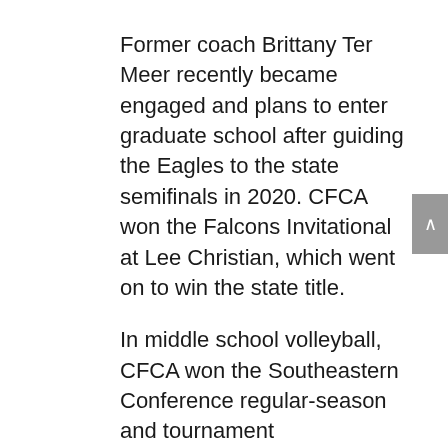Former coach Brittany Ter Meer recently became engaged and plans to enter graduate school after guiding the Eagles to the state semifinals in 2020. CFCA won the Falcons Invitational at Lee Christian, which went on to win the state title.
In middle school volleyball, CFCA won the Southeastern Conference regular-season and tournament championships under first-year coach Mary Beth Young.
CFCA's boys and girls varsity basketball teams each won Senior Classic championships. The CFCA girls got their first NCISAA playoff win since 2009.
Jake Tyndall was named Male Athlete of the